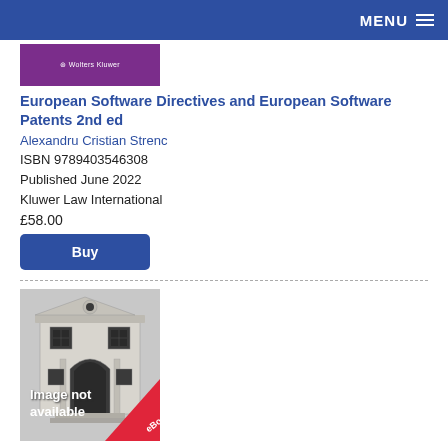MENU
[Figure (illustration): Purple book cover thumbnail with Wolters Kluwer logo]
European Software Directives and European Software Patents 2nd ed
Alexandru Cristian Strenc
ISBN 9789403546308
Published June 2022
Kluwer Law International
£58.00
Buy
[Figure (illustration): Book cover showing a building illustration with 'Image not available' text and eBook ribbon]
Energy Law in South Africa 3rd ed (eBook)
Willemien du Plessis